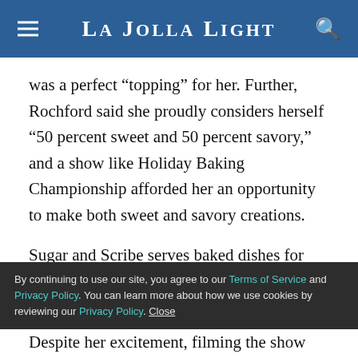La Jolla Light
was a perfect “topping” for her. Further, Rochford said she proudly considers herself “50 percent sweet and 50 percent savory,” and a show like Holiday Baking Championship afforded her an opportunity to make both sweet and savory creations.
Sugar and Scribe serves baked dishes for breakfast, lunch and dinner, along with desserts. “It’s all about baking for me. Some people are into farm-to-table, some people are GMO-free, I’m all about the oven,” she
By continuing to use our site, you agree to our Terms of Service and Privacy Policy. You can learn more about how we use cookies by reviewing our Privacy Policy. Close
Despite her excitement, filming the show presented a